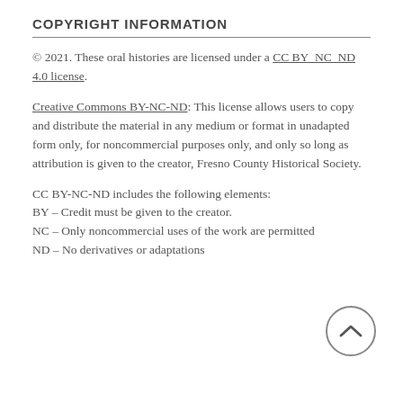COPYRIGHT INFORMATION
© 2021. These oral histories are licensed under a CC BY_NC_ND 4.0 license.
Creative Commons BY-NC-ND: This license allows users to copy and distribute the material in any medium or format in unadapted form only, for noncommercial purposes only, and only so long as attribution is given to the creator, Fresno County Historical Society.
CC BY-NC-ND includes the following elements:
BY  – Credit must be given to the creator.
NC  – Only noncommercial uses of the work are permitted
ND  – No derivatives or adaptations of the work are permitted.